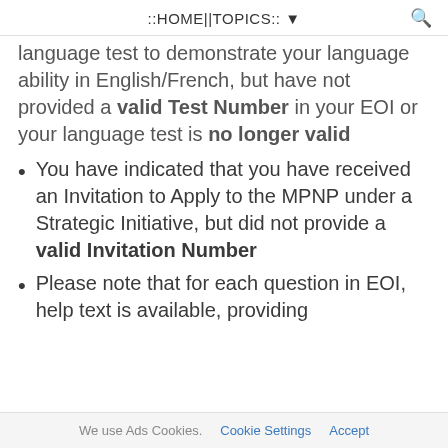::HOME||TOPICS:: ▾
language test to demonstrate your language ability in English/French, but have not provided a valid Test Number in your EOI or your language test is no longer valid
You have indicated that you have received an Invitation to Apply to the MPNP under a Strategic Initiative, but did not provide a valid Invitation Number
Please note that for each question in EOI, help text is available, providing
We use Ads Cookies.  Cookie Settings  Accept